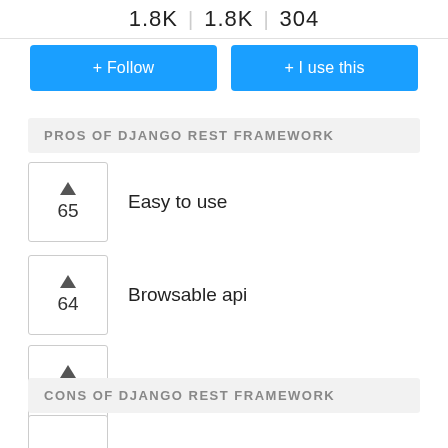1.8K | 1.8K | 304
+ Follow
+ I use this
PROS OF DJANGO REST FRAMEWORK
65 — Easy to use
64 — Browsable api
53 — Great documentation
CONS OF DJANGO REST FRAMEWORK